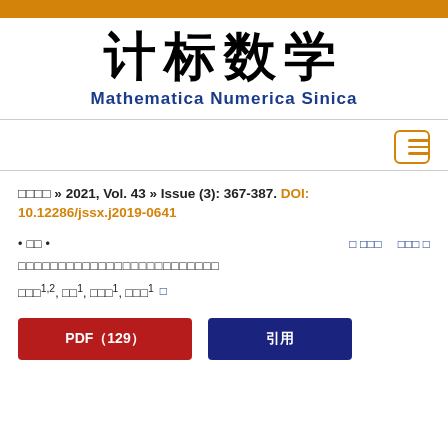(orange top bar)
计标数学 Mathematica Numerica Sinica
计算数学 »» 2021, Vol. 43 »» Issue (3): 367-387. DOI: 10.12286/jssx.j2019-0641
• 论文 •
□ □□□  □□□ □
□□□□□□□□□□□□□□□□□□□□□□□□□
□□□1,2, □□1, □□□1, □□□1
PDF ( 129 )  引用